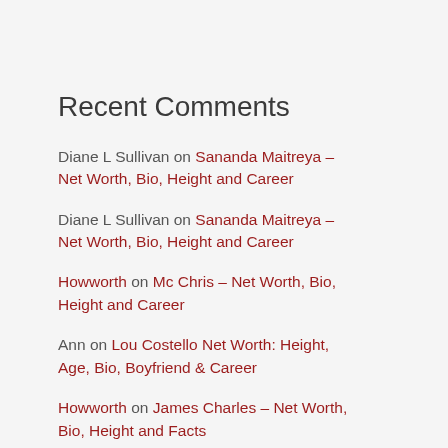Recent Comments
Diane L Sullivan on Sananda Maitreya – Net Worth, Bio, Height and Career
Diane L Sullivan on Sananda Maitreya – Net Worth, Bio, Height and Career
Howworth on Mc Chris – Net Worth, Bio, Height and Career
Ann on Lou Costello Net Worth: Height, Age, Bio, Boyfriend & Career
Howworth on James Charles – Net Worth, Bio, Height and Facts